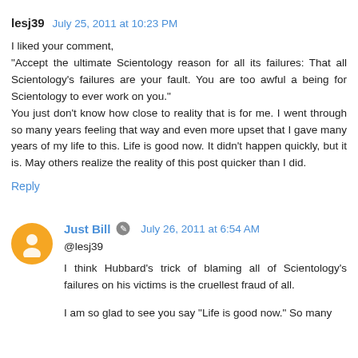lesj39  July 25, 2011 at 10:23 PM
I liked your comment,
"Accept the ultimate Scientology reason for all its failures: That all Scientology's failures are your fault. You are too awful a being for Scientology to ever work on you."
You just don't know how close to reality that is for me. I went through so many years feeling that way and even more upset that I gave many years of my life to this. Life is good now. It didn't happen quickly, but it is. May others realize the reality of this post quicker than I did.
Reply
Just Bill  July 26, 2011 at 6:54 AM
@lesj39
I think Hubbard's trick of blaming all of Scientology's failures on his victims is the cruellest fraud of all.
I am so glad to see you say "Life is good now." So many